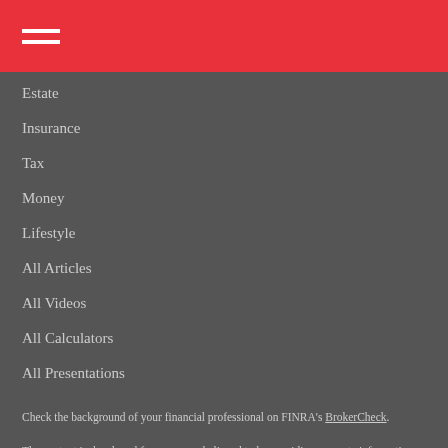[hamburger menu icon]
Estate
Insurance
Tax
Money
Lifestyle
All Articles
All Videos
All Calculators
All Presentations
Check the background of your financial professional on FINRA's BrokerCheck.
The content is developed from sources believed to be providing accurate information. The information in this material is not intended as tax or legal advice. Please consult legal or tax professionals for specific information regarding your individual situation. Some of this material was developed